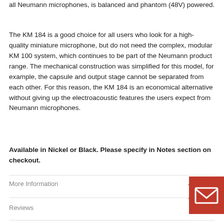all Neumann microphones, is balanced and phantom (48V) powered.
The KM 184 is a good choice for all users who look for a high- quality miniature microphone, but do not need the complex, modular KM 100 system, which continues to be part of the Neumann product range. The mechanical construction was simplified for this model, for example, the capsule and output stage cannot be separated from each other. For this reason, the KM 184 is an economical alternative without giving up the electroacoustic features the users expect from Neumann microphones.
Available in Nickel or Black. Please specify in Notes section on checkout.
More Information
Reviews